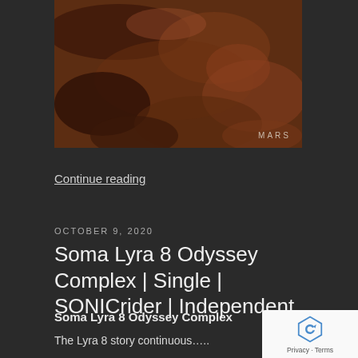[Figure (photo): Photograph of rocky Mars-like surface with text 'MARS' in the lower right corner]
Continue reading
OCTOBER 9, 2020
Soma Lyra 8 Odyssey Complex | Single | SONICrider | Independent
Soma Lyra 8 Odyssey Complex
The Lyra 8 story continuous…..
Since the prior video "Soma Lyra 8 Discovery" the Lyra 8